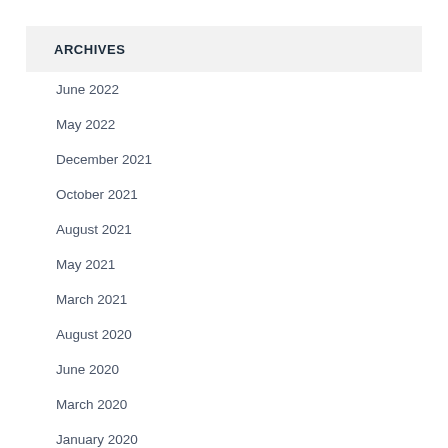ARCHIVES
June 2022
May 2022
December 2021
October 2021
August 2021
May 2021
March 2021
August 2020
June 2020
March 2020
January 2020